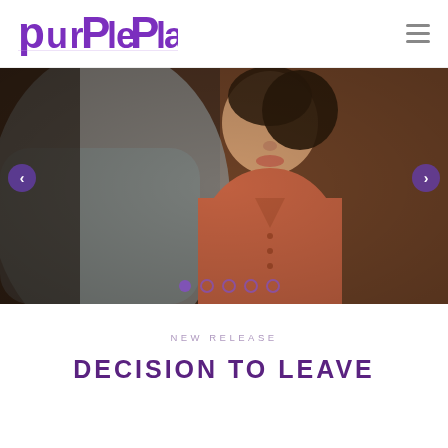[Figure (logo): Purple Plan logo in purple stylized lettering]
[Figure (photo): Slider image showing two people facing each other, woman in coral/terracotta shirt, man in grey suit, dimly lit scene. Navigation arrows on left and right, five pagination dots at bottom.]
NEW RELEASE
DECISION TO LEAVE